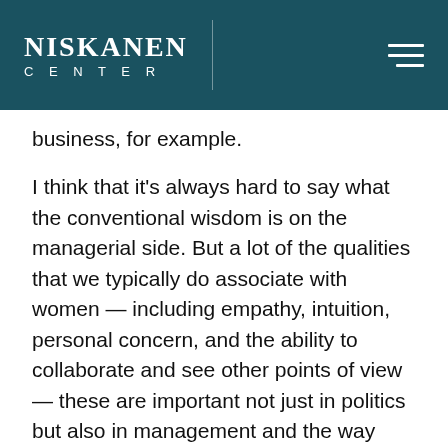NISKANEN CENTER
business, for example.
I think that it’s always hard to say what the conventional wisdom is on the managerial side. But a lot of the qualities that we typically do associate with women — including empathy, intuition, personal concern, and the ability to collaborate and see other points of view — these are important not just in politics but also in management and the way that corporations are structured now. I don’t see that changing. I don’t think there’s going to be a reversal of progress on that score. And the Republicans who are looking forward and hoping to get more of the women’s vote will say things like, “Well, women want